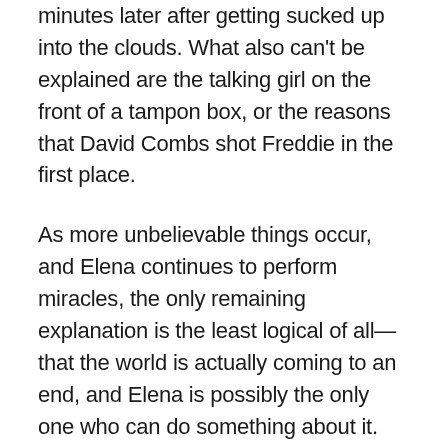minutes later after getting sucked up into the clouds. What also can't be explained are the talking girl on the front of a tampon box, or the reasons that David Combs shot Freddie in the first place.
As more unbelievable things occur, and Elena continues to perform miracles, the only remaining explanation is the least logical of all—that the world is actually coming to an end, and Elena is possibly the only one who can do something about it.
Introducing Elena